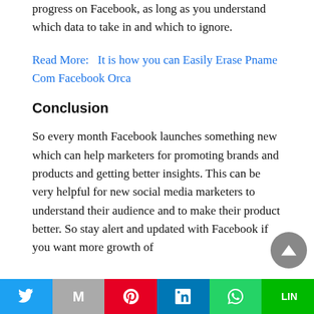progress on Facebook, as long as you understand which data to take in and which to ignore.
Read More:   It is how you can Easily Erase Pname Com Facebook Orca
Conclusion
So every month Facebook launches something new which can help marketers for promoting brands and products and getting better insights. This can be very helpful for new social media marketers to understand their audience and to make their product better. So stay alert and updated with Facebook if you want more growth of
Twitter | Mail | Pinterest | LinkedIn | WhatsApp | Line